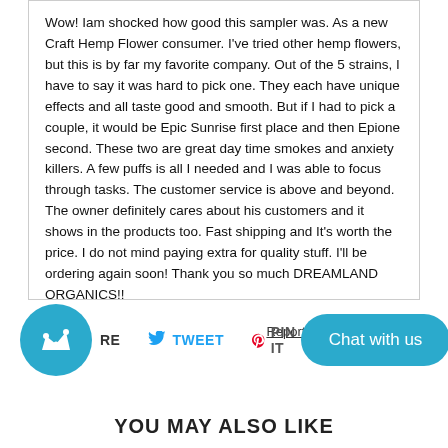Wow! Iam shocked how good this sampler was. As a new Craft Hemp Flower consumer. I've tried other hemp flowers, but this is by far my favorite company. Out of the 5 strains, I have to say it was hard to pick one. They each have unique effects and all taste good and smooth. But if I had to pick a couple, it would be Epic Sunrise first place and then Epione second. These two are great day time smokes and anxiety killers. A few puffs is all I needed and I was able to focus through tasks. The customer service is above and beyond. The owner definitely cares about his customers and it shows in the products too. Fast shipping and It's worth the price. I do not mind paying extra for quality stuff. I'll be ordering again soon! Thank you so much DREAMLAND ORGANICS!!
Report as Inappropriate
RE  TWEET  PIN IT  Chat with us
YOU MAY ALSO LIKE